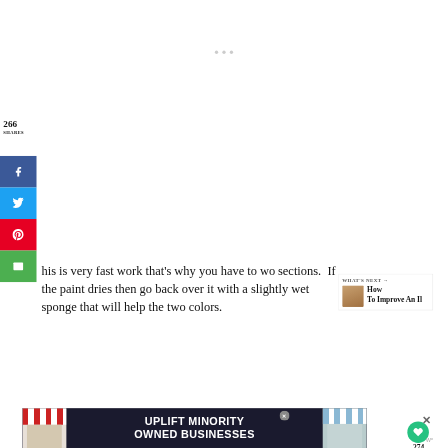266
SHARES
[Figure (infographic): Social share sidebar with Facebook (blue), Twitter (light blue), Pinterest (red), and Email (green) buttons]
his is very fast work that's why you have to wo sections.  If the paint dries then go back over it with a slightly wet sponge that will help the two colors.
[Figure (infographic): Heart/like button showing 274 with green circular heart icon and share icon below]
[Figure (infographic): What's Next panel: How To Improve An Il...]
[Figure (screenshot): Advertisement banner: UPLIFT MINORITY OWNED BUSINESSES with storefront illustration]